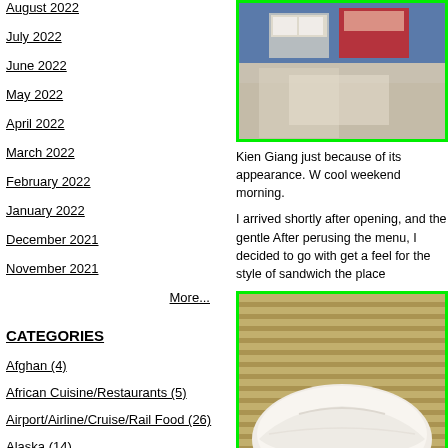August 2022
July 2022
June 2022
May 2022
April 2022
March 2022
February 2022
January 2022
December 2021
November 2021
More...
CATEGORIES
Afghan (4)
African Cuisine/Restaurants (5)
Airport/Airline/Cruise/Rail Food (26)
Alaska (14)
Alsace (12)
American Restaurants (417)
[Figure (photo): Interior of a store/restaurant counter, showing items on shelves and a blue background.]
Kien Giang just because of its appearance. W cool weekend morning.
I arrived shortly after opening, and the gentle After perusing the menu, I decided to go with get a feel for the style of sandwich the place
[Figure (photo): A sandwich wrapped in white paper placed on a bamboo mat surface.]